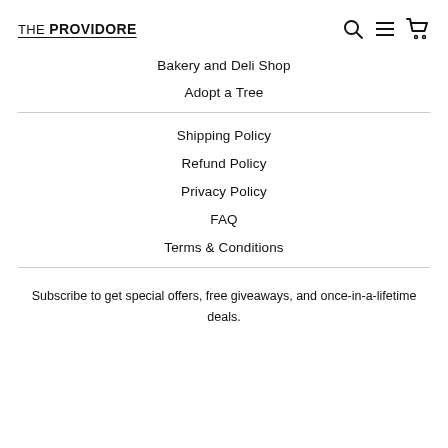THE PROVIDORE
Bakery and Deli Shop
Adopt a Tree
Shipping Policy
Refund Policy
Privacy Policy
FAQ
Terms & Conditions
Subscribe to get special offers, free giveaways, and once-in-a-lifetime deals.